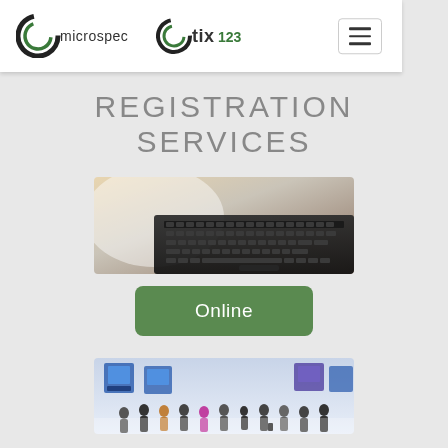[Figure (logo): Microspec and Tix123 logos with hamburger menu in white header bar]
REGISTRATION SERVICES
[Figure (photo): Close-up photo of a laptop keyboard, blurred background]
Online
[Figure (photo): Photo of a busy conference/exhibition hall with attendees walking around]